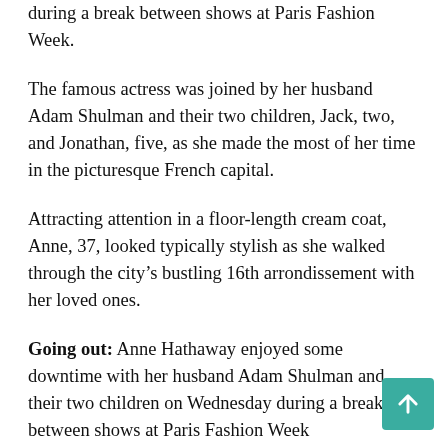during a break between shows at Paris Fashion Week.
The famous actress was joined by her husband Adam Shulman and their two children, Jack, two, and Jonathan, five, as she made the most of her time in the picturesque French capital.
Attracting attention in a floor-length cream coat, Anne, 37, looked typically stylish as she walked through the city’s bustling 16th arrondissement with her loved ones.
Going out: Anne Hathaway enjoyed some downtime with her husband Adam Shulman and their two children on Wednesday during a break between shows at Paris Fashion Week
She added a simple black turtleneck and matching pants to her look, while conventional white sneakers completed the ensemble.
Accompanying his wife, Adam, 40, cradled their youngest child as they ventured into popular local vegetarian